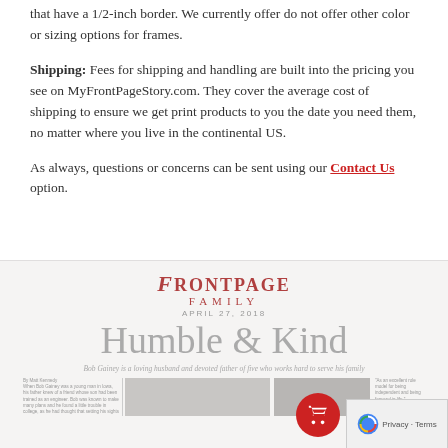that have a 1/2-inch border. We currently offer do not offer other color or sizing options for frames.
Shipping: Fees for shipping and handling are built into the pricing you see on MyFrontPageStory.com. They cover the average cost of shipping to ensure we get print products to you the date you need them, no matter where you live in the continental US.
As always, questions or concerns can be sent using our Contact Us option.
[Figure (screenshot): Frontpage Family newspaper mock-up showing logo, date line, headline 'Humble & Kind', subheadline, and column strips with photos.]